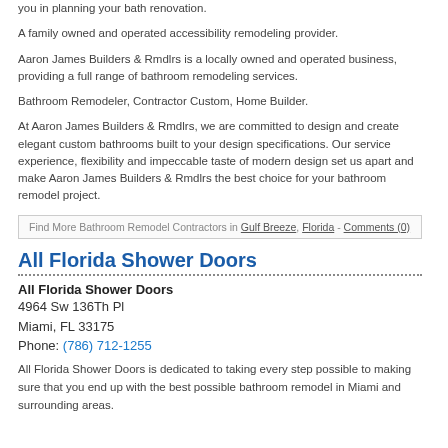you in planning your bath renovation.
A family owned and operated accessibility remodeling provider.
Aaron James Builders & Rmdlrs is a locally owned and operated business, providing a full range of bathroom remodeling services.
Bathroom Remodeler, Contractor Custom, Home Builder.
At Aaron James Builders & Rmdlrs, we are committed to design and create elegant custom bathrooms built to your design specifications. Our service experience, flexibility and impeccable taste of modern design set us apart and make Aaron James Builders & Rmdlrs the best choice for your bathroom remodel project.
Find More Bathroom Remodel Contractors in Gulf Breeze, Florida - Comments (0)
All Florida Shower Doors
All Florida Shower Doors
4964 Sw 136Th Pl
Miami, FL 33175
Phone: (786) 712-1255
All Florida Shower Doors is dedicated to taking every step possible to making sure that you end up with the best possible bathroom remodel in Miami and surrounding areas.